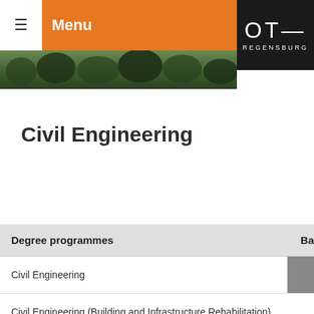Menu — OTH REGENSBURG
Civil Engineering
| Degree programmes | Ba |
| --- | --- |
| Civil Engineering |  |
| Civil Engineering (Building and Infrastructure Rehabilitation) |  |